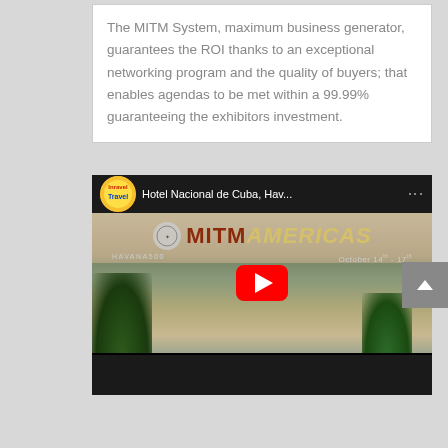The MITM System, maximum business generator, guarantees the ROI thanks to an exceptional networking program and the quality of buyers; that enables agendas to be met within a 99.99% guaranteeing the exhibitors investment.
[Figure (screenshot): YouTube video thumbnail for 'Hotel Nacional de Cuba, Hav...' showing the MITM Americas conference branding with Havana500 logo, October 14th-17th dates, and the Hotel Nacional de Cuba building with palm trees. A red YouTube play button is centered on the thumbnail. The video is embedded in a dark YouTube player frame with the Inravel Travel channel logo.]